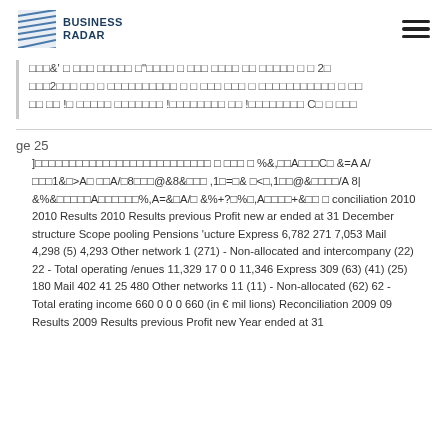BUSINESS RADAR
□□□&' □ □□□ □□□□□ □"□□□□ □ □□□ □□□□ □□ □□□□□ □ □ 2□ □□□2□□□ □□ □ □□□□□□□□□□ □ □ □□□ □□□ □ □□□□□□□□□□□ □ □□ □□ □□ !□ □□□□□ □□□□□□□ !□□□□□□□□ □□ !□□□□□□□□ C□ □ □□□
ge 25
]□□□□□□□□□□□□□□□□□□□□□□□□□□ □ □□□ □ %&,□□A□□□C□ &=A A/□□□1&□>A□ □□A/□8□□□@&8&□□□ ,1□=□& □<□,1□□@&□□□□/A 8| &%&□□□□□A□□□□□□%,A=&□A/□ &%+?□%□,A□□□□+&□□ □ conciliation 2010 2010 Results 2010 Results previous Profit new ar ended at 31 December structure Scope pooling Pensions 'ucture Express 6,782 271 7,053 Mail 4,298 (5) 4,293 Other network 1 (271) - Non-allocated and intercompany (22) 22 - Total operating /enues 11,329 17 0 0 11,346 Express 309 (63) (41) (25) 180 Mail 402 41 25 480 Other networks 11 (11) - Non-allocated (62) 62 - Total erating income 660 0 0 0 660 (in € mil lions) Reconciliation 2009 09 Results 2009 Results previous Profit new Year ended at 31